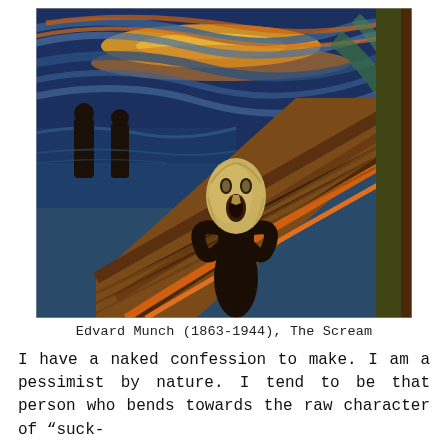[Figure (illustration): Edvard Munch's painting 'The Scream' showing a figure with an agonized expression against a swirling orange and blue sky, standing on a bridge with two figures in the background.]
Edvard Munch (1863-1944), The Scream
I have a naked confession to make. I am a pessimist by nature. I tend to be that person who bends towards the raw character of "suck-